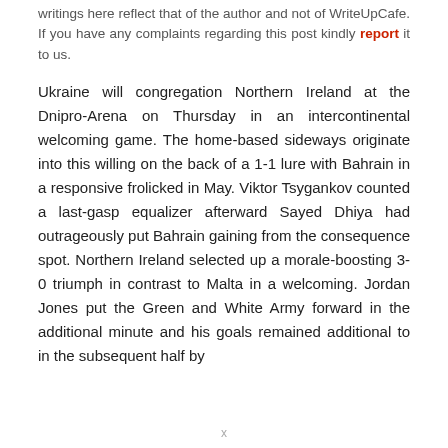writings here reflect that of the author and not of WriteUpCafe. If you have any complaints regarding this post kindly report it to us.
Ukraine will congregation Northern Ireland at the Dnipro-Arena on Thursday in an intercontinental welcoming game. The home-based sideways originate into this willing on the back of a 1-1 lure with Bahrain in a responsive frolicked in May. Viktor Tsygankov counted a last-gasp equalizer afterward Sayed Dhiya had outrageously put Bahrain gaining from the consequence spot. Northern Ireland selected up a morale-boosting 3-0 triumph in contrast to Malta in a welcoming. Jordan Jones put the Green and White Army forward in the additional minute and his goals remained additional to in the subsequent half by
x